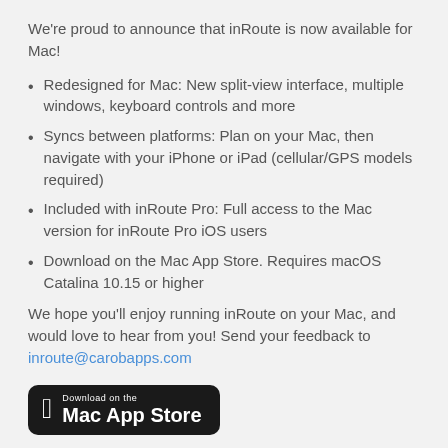We're proud to announce that inRoute is now available for Mac!
Redesigned for Mac: New split-view interface, multiple windows, keyboard controls and more
Syncs between platforms: Plan on your Mac, then navigate with your iPhone or iPad (cellular/GPS models required)
Included with inRoute Pro: Full access to the Mac version for inRoute Pro iOS users
Download on the Mac App Store. Requires macOS Catalina 10.15 or higher
We hope you'll enjoy running inRoute on your Mac, and would love to hear from you! Send your feedback to inroute@carobapps.com
[Figure (other): Download on the Mac App Store button — black rounded rectangle with Apple logo and text 'Download on the Mac App Store']